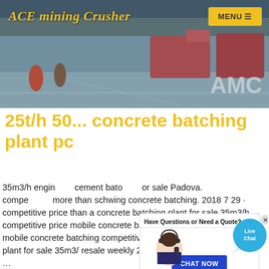[Figure (photo): Industrial warehouse/factory interior with large machinery, trucks, and workers. ACE mining Crusher logo overlaid top-left, MENU button top-right, AMC company logo bottom-right.]
25t/h 50... concrete batching plant pc
35m3/h engine cement bato or sale Padova. compe more than schwing concrete batching. 2018 7 29 · competitive price than a concrete batching plant for sale 35m3/h. competitive price mobile concrete batching plant competitive price mobile concrete batching competitive price than a concrete batching plant for sale 35m3/ resale weekly 2489 by resale weekly concrete ...
[Figure (screenshot): Chat popup overlay showing 'Have Questions or Need a Quote?' header with X close button, customer service agent photo, and 'CHAT NOW' button. Also shows Live Chat bubble in top-right.]